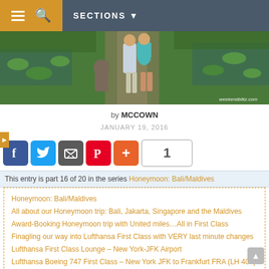SECTIONS
[Figure (photo): Couple walking on a garden path surrounded by lily pads and lush greenery; watermark: weekendblitz.com]
by MCCOWN
JANUARY 19, 2016
[Figure (infographic): Social sharing buttons: Facebook, Twitter, Email, Pinterest, Plus; count badge showing 1]
This entry is part 16 of 20 in the series Honeymoon: Bali/Maldives
Honeymoon: Bali/Maldives
All about our Honeymoon trip: Bali, Jakarta, Singapore and the Maldives
Award-Booking Honeymoon trip with United miles…All in First Class
Finagling our way into Lufthansa First Class with VERY last minute changes
Lufthansa First Class Lounge – New York-JFK Airport
Lufthansa Boeing 747 First Class – New York JFK to Frankfurt FRA (LH 405)